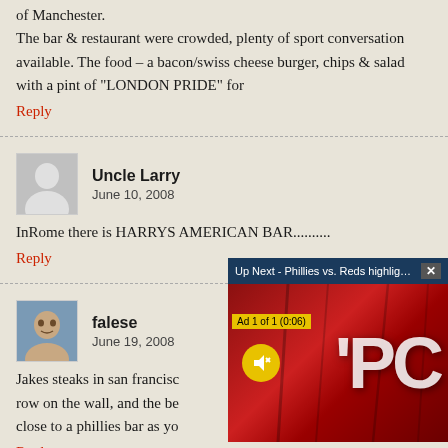of Manchester.
The bar & restaurant were crowded, plenty of sport conversation available. The food – a bacon/swiss cheese burger, chips & salad with a pint of "LONDON PRIDE" for
Reply
Uncle Larry
June 10, 2008
InRome there is HARRYS AMERICAN BAR..........
Reply
falese
June 19, 2008
Jakes steaks in san francisc...
row on the wall, and the be...
close to a phillies bar as yo...
[Figure (screenshot): Video overlay: 'Up Next - Phillies vs. Reds highlights - Jo...' with a close button X, Ad 1 of 1 (0:06) label, mute button, and red background with large letters 'PC']
Reply